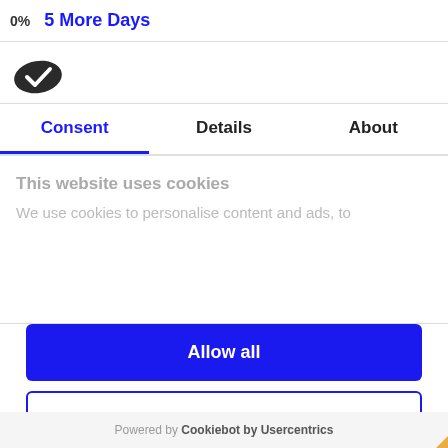0%   5 More Days
[Figure (logo): Cookiebot logo — dark oval cookie shape with white checkmark]
Consent | Details | About
This website uses cookies
We use cookies to personalise content and ads, to
Allow all
Allow selection
Deny
Powered by Cookiebot by Usercentrics